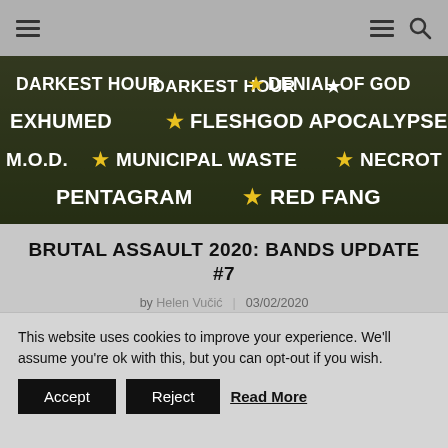Navigation bar with hamburger menu icons and search icon
[Figure (illustration): Dark festival banner showing band names: DARKEST HOUR, DENIAL OF GOD, EXHUMED, FLESHGOD APOCALYPSE, M.O.D., MUNICIPAL WASTE, NECROT, PENTAGRAM, RED FANG with gold star separators on dark background]
BRUTAL ASSAULT 2020: BANDS UPDATE #7
by Helen Vučić | 03/02/2020
This year at Brutal Assault, we're partying with Municipal Waste, Fleshgod Apocalypse, Pentagram, Exhumed, Red Fang, Denial of God and many more!
This website uses cookies to improve your experience. We'll assume you're ok with this, but you can opt-out if you wish.